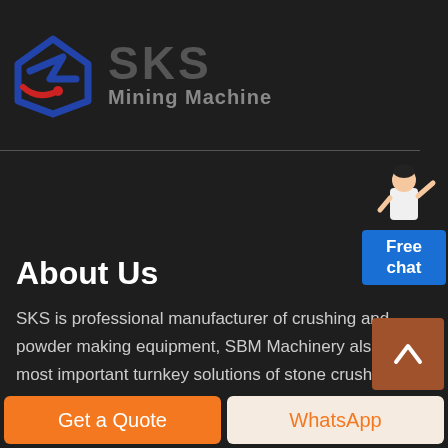[Figure (logo): SKS Mining Machine logo with blue angular shield shape and red arrow element, with grey SKS text and Mining Machine subtitle]
[Figure (illustration): Free chat widget with a person in white jacket standing, and a blue button labeled Free chat]
About Us
SKS is professional manufacturer of crushing and powder making equipment, SBM Machinery also is the most important turnkey solutions of stone crushing plant, aggregate plant, powder making plant, ore benefic plant for the clients in China
[Figure (other): Brown scroll-to-top button with upward arrow]
Get a Quote
WhatsApp